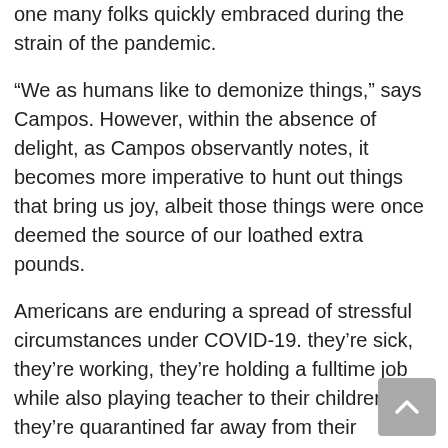adjusted or fading from calisi, a well-established theory — but one many folks quickly embraced during the strain of the pandemic.
“We as humans like to demonize things,” says Campos. However, within the absence of delight, as Campos observantly notes, it becomes more imperative to hunt out things that bring us joy, albeit those things were once deemed the source of our loathed extra pounds.
Americans are enduring a spread of stressful circumstances under COVID-19. they’re sick, they’re working, they’re holding a fulltime job while also playing teacher to their children, they’re quarantined far away from their families, they’re working too many hours. it’s enough to send people checking out of ways to self-soothe.